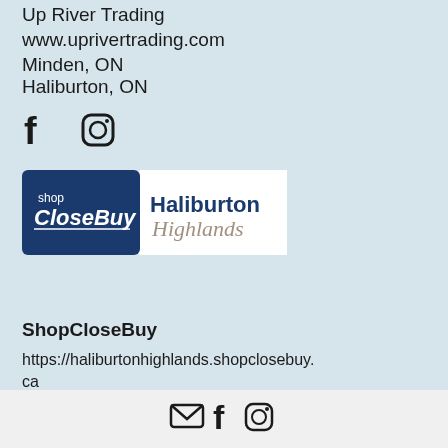Up River Trading
www.uprivertrading.com
Minden, ON
Haliburton, ON
[Figure (logo): Facebook and Instagram social media icons]
[Figure (logo): Shop CloseBuy Haliburton Highlands logo - blue left panel with 'shop CloseBuy' text and white right panel with 'Haliburton Highlands' text]
ShopCloseBuy
https://haliburtonhighlands.shopclosebuy.ca
[Figure (logo): Footer bar with email, Facebook and Instagram icons]